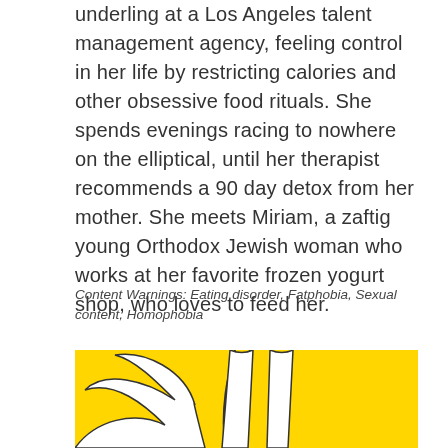underling at a Los Angeles talent management agency, feeling control in her life by restricting calories and other obsessive food rituals. She spends evenings racing to nowhere on the elliptical, until her therapist recommends a 90 day detox from her mother. She meets Miriam, a zaftig young Orthodox Jewish woman who works at her favorite frozen yogurt shop, who loves to feed her.
Content Warnings: Eating disorder, Fatphobia, Sexual content, Homophobia
[Figure (illustration): Yellow background illustration showing white/light-colored stylized figure legs and possibly a hand or wing shape, drawn in a simple graphic style with black outlines.]